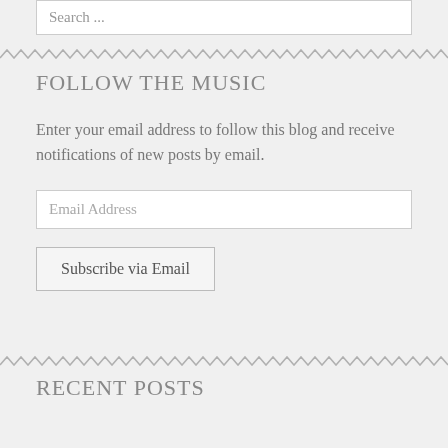Search ...
FOLLOW THE MUSIC
Enter your email address to follow this blog and receive notifications of new posts by email.
Email Address
Subscribe via Email
RECENT POSTS